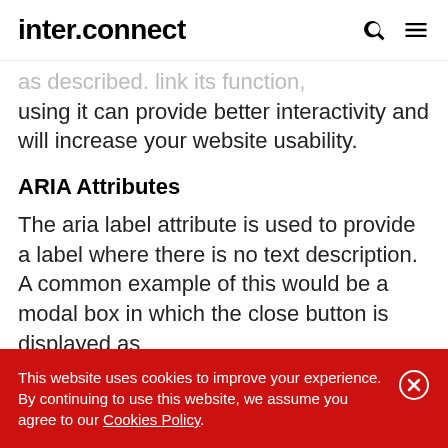inter.connect
...as described. Link its function, using it can provide better interactivity and will increase your website usability.
ARIA Attributes
The aria label attribute is used to provide a label where there is no text description. A common example of this would be a modal box in which the close button is displayed as
This website uses cookies to improve your experience. By continuing to use this website, we assume you agree to our Cookies Policy.